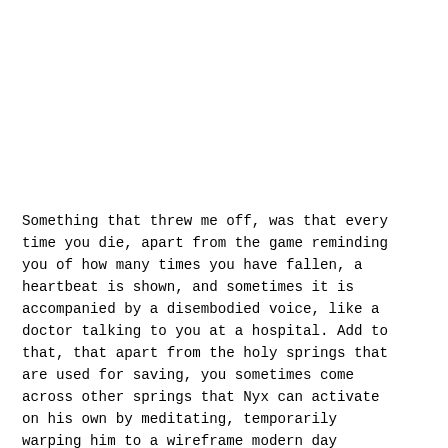Something that threw me off, was that every time you die, apart from the game reminding you of how many times you have fallen, a heartbeat is shown, and sometimes it is accompanied by a disembodied voice, like a doctor talking to you at a hospital. Add to that, that apart from the holy springs that are used for saving, you sometimes come across other springs that Nyx can activate on his own by meditating, temporarily warping him to a wireframe modern day office, where he finds his daughter in a wheelchair. Thousands of questions arose when I saw this, as not only did this vision clash heavily with the rest of the game's medieval setting, but the overall